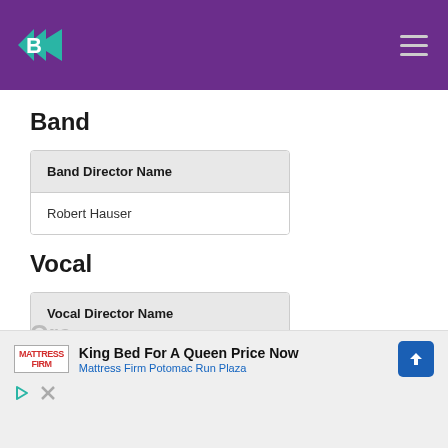Band Director — Navigation header with logo and menu
Band
| Band Director Name |
| --- |
| Robert Hauser |
Vocal
| Vocal Director Name |
| --- |
| Robert Hauser |
Orc
King Bed For A Queen Price Now
Mattress Firm Potomac Run Plaza